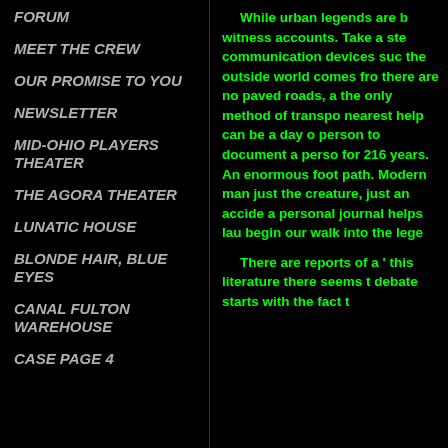FORUM
MEET THE CREW
OUR PROMISE TO YOU
NEWSLETTER
MID-OHIO PLAYERS THEATER
THE AGORA THEATER
LUNATIC HOUSE
BLONDE HAIR, BLUE EYES
CANAL FULTON WAREHOUSE
CASE PAGE 4
While urban legends are b witness accounts. Take a ste communication devices suc the outside world comes fro there are no paved roads, a the only method of transpo nearest help can be a day o person to document a perso for 216 years. An enormous foot path. Modern man just the creature, just an accide a personal journal helps lau begin our walk into the lege
There are reports of a ' this literature there seems t debate starts with the fact t